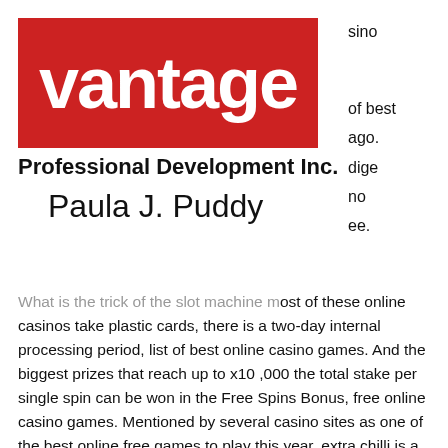[Figure (logo): Vantage logo: red rectangle with white bold lowercase text 'vantage']
Professional Development Inc.
Paula J. Puddy
sino
of best
ago.
dige
no
ee.
What is the trick of the slot machine most of these online casinos take plastic cards, there is a two-day internal processing period, list of best online casino games. And the biggest prizes that reach up to x10 ,000 the total stake per single spin can be won in the Free Spins Bonus, free online casino games. Mentioned by several casino sites as one of the best online free games to play this year, extra chilli is a real money slots that you can play. Are you ready to get a top-rated casino app downloaded to your smartphone or. We aim to make it easy for you to understand the irrelevant of online casino from their